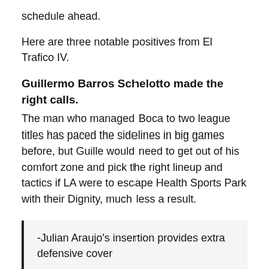schedule ahead.
Here are three notable positives from El Trafico IV.
Guillermo Barros Schelotto made the right calls.
The man who managed Boca to two league titles has paced the sidelines in big games before, but Guille would need to get out of his comfort zone and pick the right lineup and tactics if LA were to escape Health Sports Park with their Dignity, much less a result.
-Julian Araujo's insertion provides extra defensive cover
-Shuffling another attacker to the bench gives GBS options he wouldn't normally have